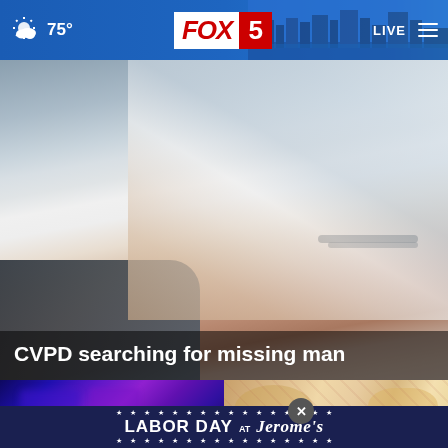FOX 5 | 75° | LIVE
[Figure (screenshot): Blurred close-up photo of a person wearing glasses and a hoodie/hat, used as the main video thumbnail for news story]
CVPD searching for missing man
[Figure (photo): Blue and purple police lights photo thumbnail]
[Figure (photo): Food/drink items on a table thumbnail]
[Figure (screenshot): Advertisement banner: LABOR DAY AT Jerome's with decorative stars border]